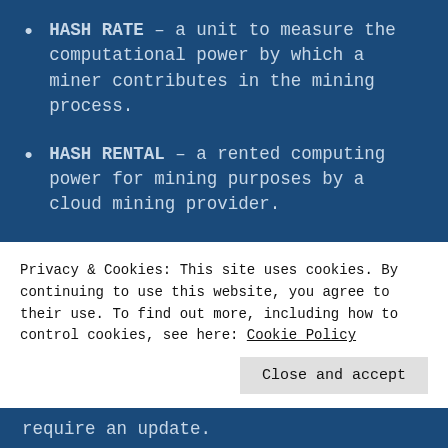HASH RATE – a unit to measure the computational power by which a miner contributes in the mining process.
HASH RENTAL – a rented computing power for mining purposes by a cloud mining provider.
HARD FORK – this is a protocol change, which results in splitting into two different chains and the
Privacy & Cookies: This site uses cookies. By continuing to use this website, you agree to their use. To find out more, including how to control cookies, see here: Cookie Policy
Close and accept
require an update.